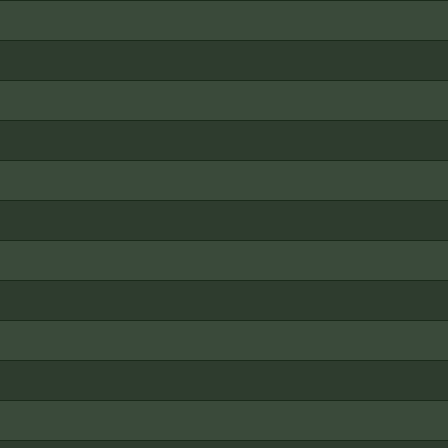| Artist | Date | Venue |
| --- | --- | --- |
| Alice Cooper | 04/01/1973 | Cin… |
| Alice Cooper | 04/04/1973 | Col… |
| Alice Cooper | 04/05/1973 | Col… |
| Alice Cooper | 04/12/1973 | Per… |
| Alice Cooper | 04/26/1973 | New… |
| Alice Cooper | 05/11/1973 | The… |
| Alice Cooper | 05/30/1973 | Me… |
| Alice Cooper | 12/14/1973 | Ma… |
| Alice Cooper | 04/26/1975 | Bos… |
| Alice Cooper | 05/03/1975 | Ott… |
| Alice Cooper | 05/05/1975 | Ma… |
| Alice Cooper | 05/27/1975 | Fre… |
| Alice Cooper | 05/31/1975 | Okl… |
| Alice Cooper | 06/17/1975 | The… |
| Alice Cooper | 07/16/1975 | Pro… |